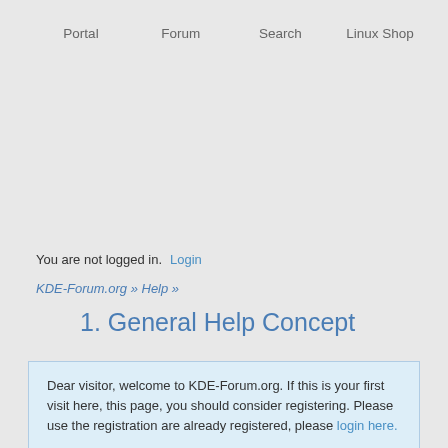Portal   Forum   Search   Linux Shop
You are not logged in.   Login
KDE-Forum.org » Help »
1. General Help Concept
Dear visitor, welcome to KDE-Forum.org. If this is your first visit here, you have to register before you can post. To start viewing messages, select the forum that you want to visit from the selection below. If you are already registered, please login here.